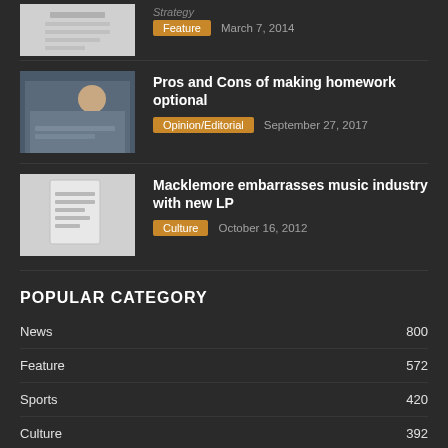[Figure (photo): Partially visible article with document icon thumbnail and Feature tag, March 7 2014]
Pros and Cons of making homework optional
Opinion/Editorial   September 27, 2017
Macklemore embarrasses music industry with new LP
Culture   October 16, 2012
POPULAR CATEGORY
News   800
Feature   572
Sports   420
Culture   392
Carousel   336